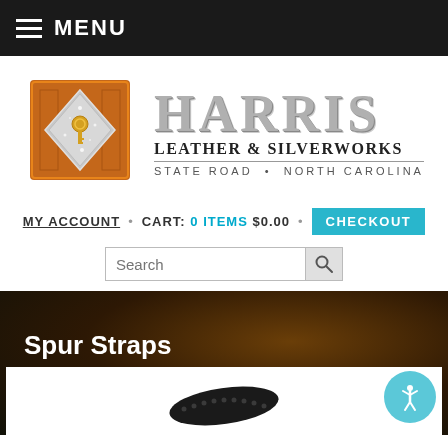MENU
[Figure (logo): Harris Leather & Silverworks decorative logo with ornate H monogram in copper/orange and silver, with diamond silver overlay and key]
HARRIS LEATHER & SILVERWORKS STATE ROAD • NORTH CAROLINA
MY ACCOUNT • CART: 0 ITEMS $0.00 • CHECKOUT
Search
Spur Straps
[Figure (photo): Black leather spur strap with decorative holes, photographed on dark background]